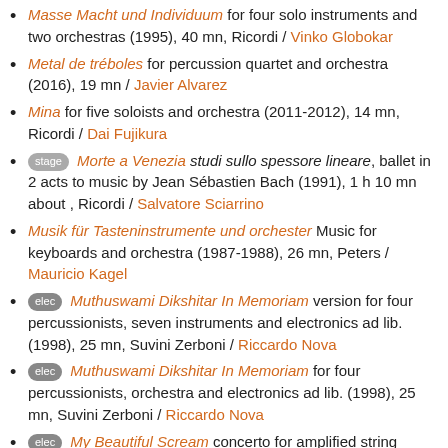Masse Macht und Individuum for four solo instruments and two orchestras (1995), 40 mn, Ricordi / Vinko Globokar
Metal de tréboles for percussion quartet and orchestra (2016), 19 mn / Javier Alvarez
Mina for five soloists and orchestra (2011-2012), 14 mn, Ricordi / Dai Fujikura
[stage] Morte a Venezia studi sullo spessore lineare, ballet in 2 acts to music by Jean Sébastien Bach (1991), 1 h 10 mn about , Ricordi / Salvatore Sciarrino
Musik für Tasteninstrumente und orchester Music for keyboards and orchestra (1987-1988), 26 mn, Peters / Mauricio Kagel
[elec] Muthuswami Dikshitar In Memoriam version for four percussionists, seven instruments and electronics ad lib. (1998), 25 mn, Suvini Zerboni / Riccardo Nova
[elec] Muthuswami Dikshitar In Memoriam for four percussionists, orchestra and electronics ad lib. (1998), 25 mn, Suvini Zerboni / Riccardo Nova
[elec] My Beautiful Scream concerto for amplified string quartet and orchestra (2003), 25 mn, Red Poppy / Julia Wolfe
[elec ircam] Namenlosen for four soloists, ensemble and electronics (2017), 20 mn / Sasha J. Blondeau